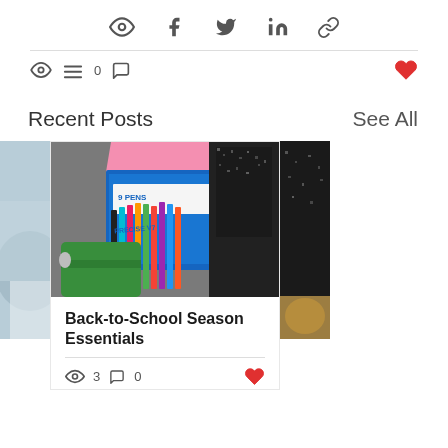[Figure (infographic): Social share icons row: Facebook, Twitter, LinkedIn, link icon]
[Figure (infographic): Stats bar with eye/views icon, list/post count icon showing 0, comment bubble icon, and a red heart/like icon on the right]
Recent Posts
See All
[Figure (photo): Partial left image (cut off) showing a couch/cushion in blue-gray tones]
[Figure (photo): Center blog post image showing colorful Pilot Precise V7 pens in packaging with a notebook and green pencil case on a gray denim background]
[Figure (photo): Partial right image (cut off) showing a black glitter notebook/journal]
Back-to-School Season Essentials
[Figure (infographic): Post stats: eye icon with count 3, comment bubble with count 0, red heart like icon]